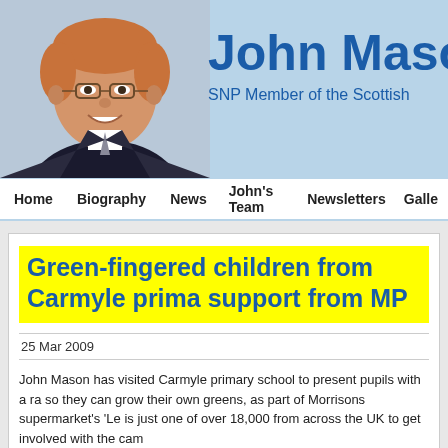[Figure (photo): Photo of John Mason MSP smiling, wearing glasses and a suit, on a light blue background banner]
John Mason
SNP Member of the Scottish
Home   Biography   News   John's Team   Newsletters   Galle
Green-fingered children from Carmyle prima support from MP
25 Mar 2009
John Mason has visited Carmyle primary school to present pupils with a ra so they can grow their own greens, as part of Morrisons supermarket's 'Le is just one of over 18,000 from across the UK to get involved with the cam
Teachers will use the new tools and seeds to inspire millions of children ac the Morrisons 'Let's Grow' campaign will see UK kids will grow nearly thr